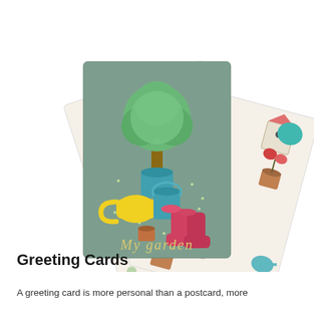[Figure (illustration): Three greeting cards fanned out: left card has a cream background with colorful polka dots; center card is sage green featuring garden items — a topiary tree in a teal pot, a yellow watering can, pink rubber boots, and a small terracotta pot, with script text reading 'My garden'; right card has a cream background with illustrated garden tools, birdhouses, flowers, and birds.]
Greeting Cards
A greeting card is more personal than a postcard, more